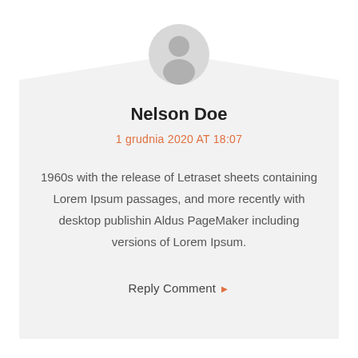[Figure (illustration): User avatar circle with generic person silhouette icon in grey]
Nelson Doe
1 grudnia 2020 AT 18:07
1960s with the release of Letraset sheets containing Lorem Ipsum passages, and more recently with desktop publishin Aldus PageMaker including versions of Lorem Ipsum.
Reply Comment ▶